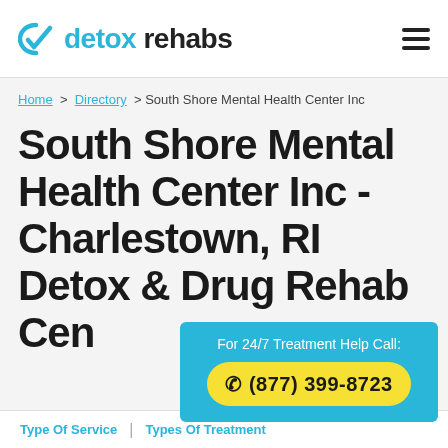detox rehabs
Home > Directory > South Shore Mental Health Center Inc
South Shore Mental Health Center Inc - Charlestown, RI Detox & Drug Rehab Center
For 24/7 Treatment Help Call: (877) 399-8723
Type Of Service | Types Of Treatment